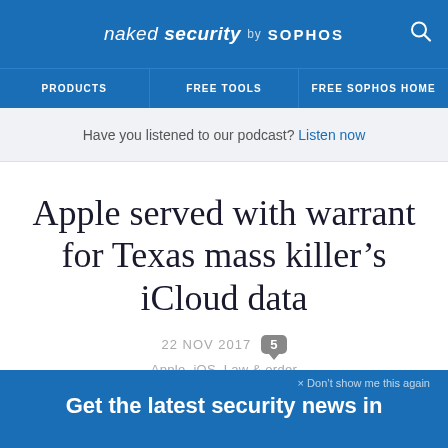naked security by SOPHOS
PRODUCTS | FREE TOOLS | FREE SOPHOS HOME
Have you listened to our podcast? Listen now
Apple served with warrant for Texas mass killer’s iCloud data
22 NOV 2017   5
Apple, iOS, Law & order
× Don’t show me this again
Get the latest security news in